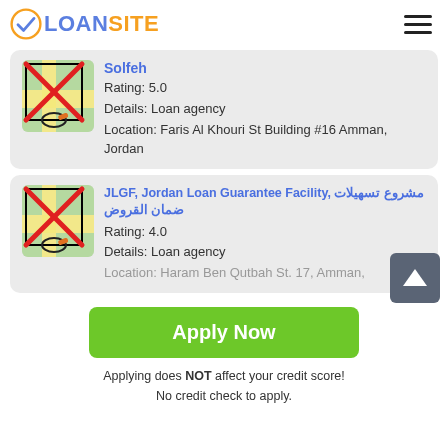LOANSITE
Solfeh
Rating: 5.0
Details: Loan agency
Location: Faris Al Khouri St Building #16 Amman, Jordan
JLGF, Jordan Loan Guarantee Facility, مشروع تسهيلات ضمان القروض
Rating: 4.0
Details: Loan agency
Location: Haram Ben Qutbah St. 17, Amman,
Apply Now
Applying does NOT affect your credit score!
No credit check to apply.